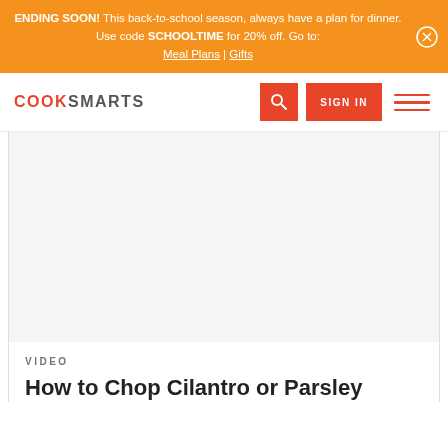ENDING SOON! This back-to-school season, always have a plan for dinner. Use code SCHOOLTIME for 20% off. Go to: Meal Plans | Gifts
[Figure (screenshot): CookSmarts website navigation bar with logo, search button, sign in button, and hamburger menu]
[Figure (other): Video placeholder area (blank/white)]
VIDEO
How to Chop Cilantro or Parsley